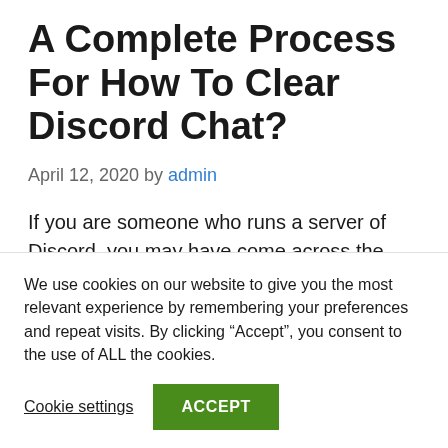A Complete Process For How To Clear Discord Chat?
April 12, 2020 by admin
If you are someone who runs a server of Discord, you may have come across the need of deleting unwanted conversations and messages so upon looking at so many...
We use cookies on our website to give you the most relevant experience by remembering your preferences and repeat visits. By clicking “Accept”, you consent to the use of ALL the cookies.